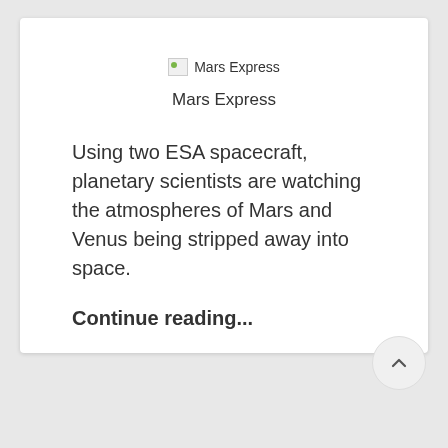[Figure (photo): Broken image placeholder labeled 'Mars Express']
Mars Express
Using two ESA spacecraft, planetary scientists are watching the atmospheres of Mars and Venus being stripped away into space.
Continue reading...